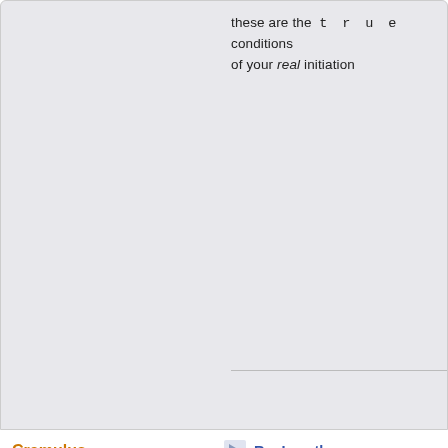these are the  t r u e  conditions of your real initiation
Cramulus
Deserved It
Re: I am the enemy
« Reply #5 on: March 07, 2021, 02:37:27
Now, as an adult, you have the context to within you
a state of sleep
and an accursed state which will remain r